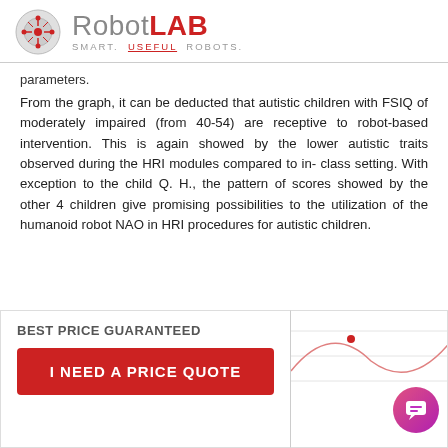RobotLAB SMART. USEFUL. ROBOTS.
parameters.
From the graph, it can be deducted that autistic children with FSIQ of moderately impaired (from 40-54) are receptive to robot-based intervention. This is again showed by the lower autistic traits observed during the HRI modules compared to in- class setting. With exception to the child Q. H., the pattern of scores showed by the other 4 children give promising possibilities to the utilization of the humanoid robot NAO in HRI procedures for autistic children.
BEST PRICE GUARANTEED
I NEED A PRICE QUOTE
[Figure (continuous-plot): Partial view of a graph showing curved lines, partially obscured by the price quote banner overlay.]